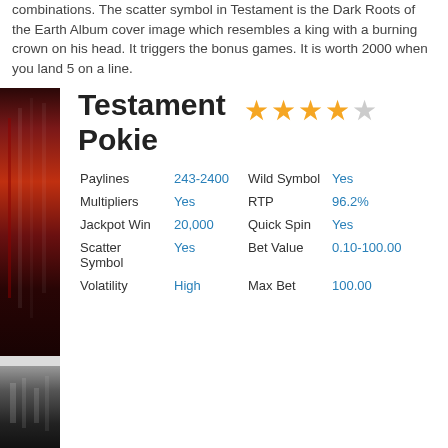combinations. The scatter symbol in Testament is the Dark Roots of the Earth Album cover image which resembles a king with a burning crown on his head. It triggers the bonus games. It is worth 2000 when you land 5 on a line.
[Figure (photo): Two stacked images of a slot machine or game interface with dark red and dark tones, resembling an album cover strip.]
Testament Pokie
[Figure (infographic): 4 filled orange stars and 1 empty grey star, representing a 4 out of 5 star rating.]
| Feature | Value | Feature | Value |
| --- | --- | --- | --- |
| Paylines | 243-2400 | Wild Symbol | Yes |
| Multipliers | Yes | RTP | 96.2% |
| Jackpot Win | 20,000 | Quick Spin | Yes |
| Scatter Symbol | Yes | Bet Value | 0.10-100.00 |
| Volatility | High | Max Bet | 100.00 |